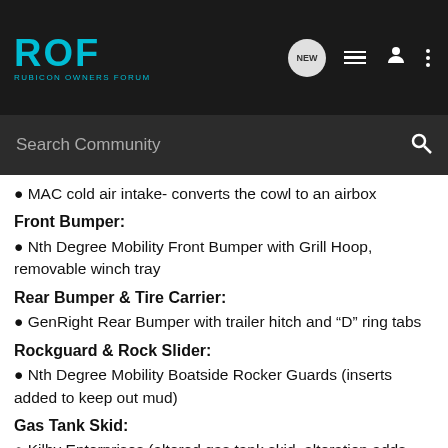ROF - RUBICON OWNERS FORUM
MAC cold air intake- converts the cowl to an airbox
Front Bumper:
Nth Degree Mobility Front Bumper with Grill Hoop, removable winch tray
Rear Bumper & Tire Carrier:
GenRight Rear Bumper with trailer hitch and “D” ring tabs
Rockguard & Rock Slider:
Nth Degree Mobility Boatside Rocker Guards (inserts added to keep out mud)
Gas Tank Skid:
Kilby Enterprises (altered gas tank skid, alteration adds room so you can’t damage the pump with a hard hit)